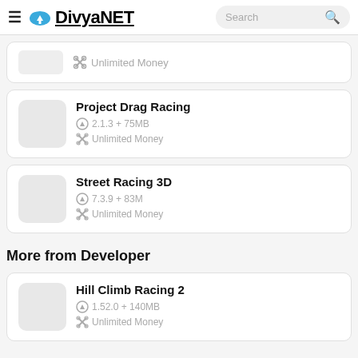DivyaNET — Search bar
Unlimited Money (partial card top)
Project Drag Racing
2.1.3 + 75MB
Unlimited Money
Street Racing 3D
7.3.9 + 83M
Unlimited Money
More from Developer
Hill Climb Racing 2
1.52.0 + 140MB
Unlimited Money